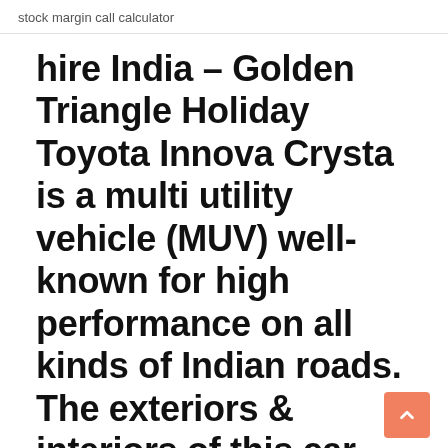stock margin call calculator
hire India – Golden Triangle Holiday Toyota Innova Crysta is a multi utility vehicle (MUV) well-known for high performance on all kinds of Indian roads. The exteriors & interiors of this car are very stylish and designed to offer comfort during the ...